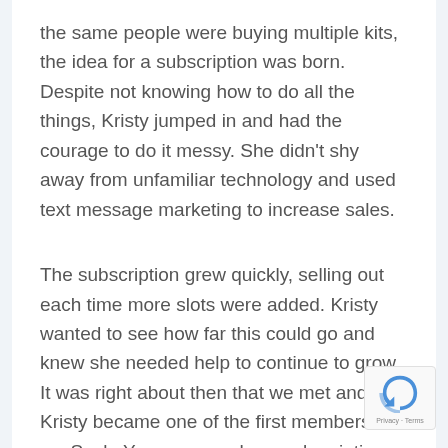the same people were buying multiple kits, the idea for a subscription was born. Despite not knowing how to do all the things, Kristy jumped in and had the courage to do it messy. She didn't shy away from unfamiliar technology and used text message marketing to increase sales.
The subscription grew quickly, selling out each time more slots were added. Kristy wanted to see how far this could go and knew she needed help to continue to grow. It was right about then that we met and Kristy became one of the first members of my Scale Your group, where subscription box owners who already have successful subscriptions learn.